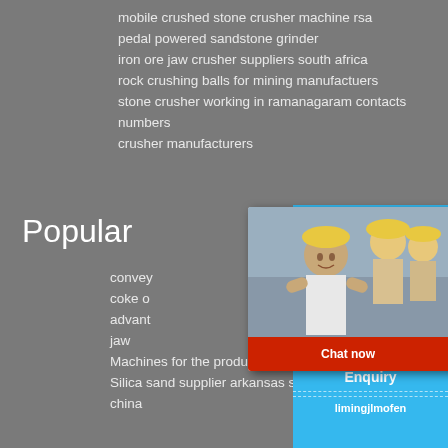mobile crushed stone crusher machine rsa
pedal powered sandstone grinder
iron ore jaw crusher suppliers south africa
rock crushing balls for mining manufactuers
stone crusher working in ramanagaram contacts numbers
crusher manufacturers
Popular
convey...
coke o...
advant...
jaw ...
Machines for the production of cem...
Silica sand supplier arkansas silica... china
[Figure (screenshot): Live chat popup overlay with photo of workers in hard hats, red LIVE CHAT text, subtitle 'Click for a Free Consultation', Chat now and Chat later buttons]
[Figure (screenshot): Blue right sidebar panel showing 'hour online', cone crusher machine image, 'Click me to chat>>' button, Enquiry section, and limingjlmofen text]